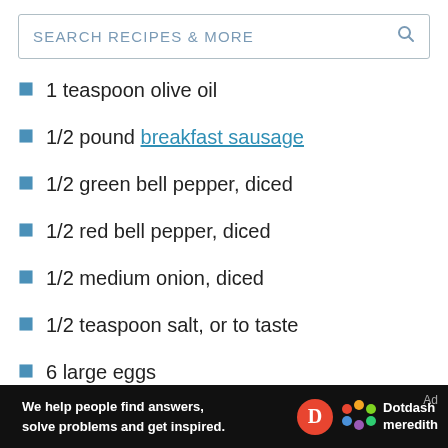SEARCH RECIPES & MORE
1 teaspoon olive oil
1/2 pound breakfast sausage
1/2 green bell pepper, diced
1/2 red bell pepper, diced
1/2 medium onion, diced
1/2 teaspoon salt, or to taste
6 large eggs
2 teaspoons taco seasoning
We help people find answers, solve problems and get inspired. Dotdash meredith